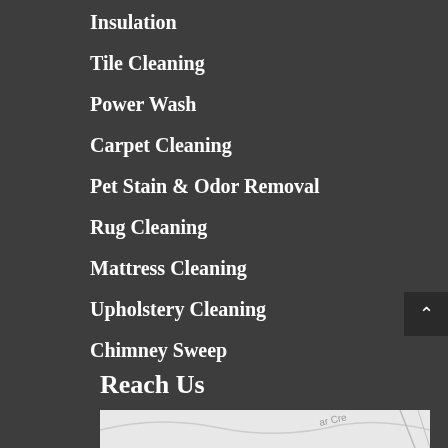Insulation
Tile Cleaning
Power Wash
Carpet Cleaning
Pet Stain & Odor Removal
Rug Cleaning
Mattress Cleaning
Upholstery Cleaning
Chimney Sweep
Reach Us
[Figure (map): Street map showing local area with road curves and labels]